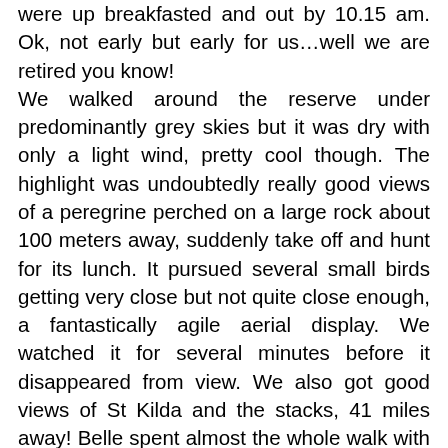were up breakfasted and out by 10.15 am. Ok, not early but early for us…well we are retired you know! We walked around the reserve under predominantly grey skies but it was dry with only a light wind, pretty cool though. The highlight was undoubtedly really good views of a peregrine perched on a large rock about 100 meters away, suddenly take off and hunt for its lunch. It pursued several small birds getting very close but not quite close enough, a fantastically agile aerial display. We watched it for several minutes before it disappeared from view. We also got good views of St Kilda and the stacks, 41 miles away! Belle spent almost the whole walk with her nose to the ground sniffing out smells, enough for us to wonder if dogs ever get sore noses! After our walk we had our lunch, the bread was quite stale so we put some in the bird feeders